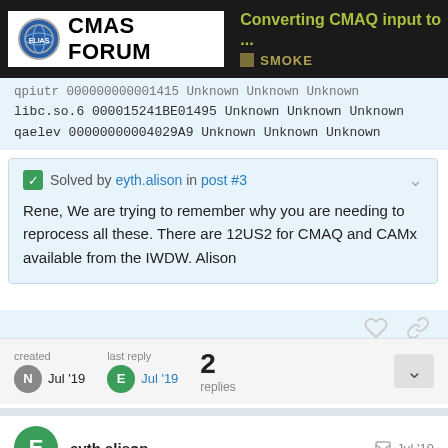CMAS FORUM — Converting CMAQ input to ... — SMOKE
qpiutr 000000000001415 Unknown Unknown Unknown
libc.so.6 000015241BE01495 Unknown Unknown Unknown
qaelev 00000000004029A9 Unknown Unknown Unknown
✅ Solved by eyth.alison in post #3
Rene, We are trying to remember why you are needing to reprocess all these. There are 12US2 for CMAQ and CAMx available from the IWDW. Alison
created Jul '19   last reply Jul '19   2 replies
eyth.alison   Jul '19